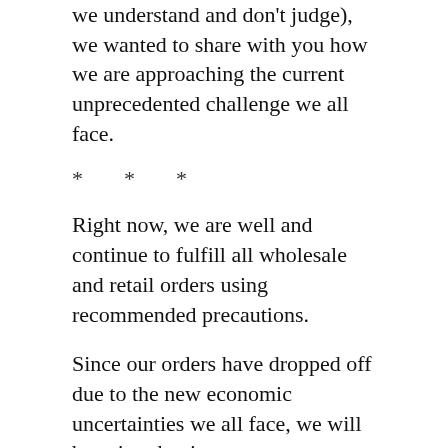we understand and don't judge), we wanted to share with you how we are approaching the current unprecedented challenge we all face.
* * *
Right now, we are well and continue to fulfill all wholesale and retail orders using recommended precautions.
Since our orders have dropped off due to the new economic uncertainties we all face, we will be using the time we are not at our cancelled shows, and not making so many shawl cuffs and closures, to develop new content for you that we will be sharing here, as blog posts, and Instagram stories (which I will finally be